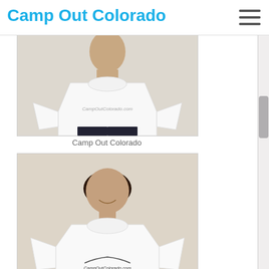Camp Out Colorado
[Figure (photo): Product listing showing a white t-shirt with Camp Out Colorado logo worn by a model, first item]
Camp Out Colorado
[Figure (photo): Product listing showing a white t-shirt with Camp Out Colorado mountain logo worn by a girl model, second item]
Camp Out Colorado
[Figure (screenshot): Search bar input field in gray area]
[Figure (logo): Zazzle logo with circle-z icon]
Search Camp Out Colorado